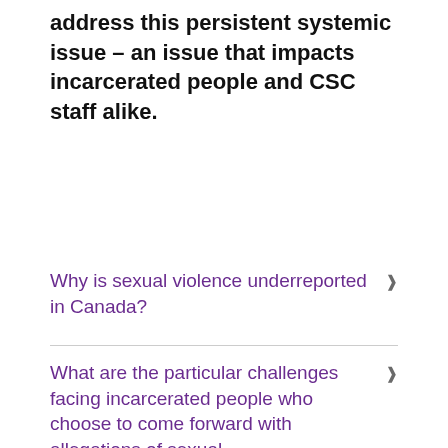address this persistent systemic issue – an issue that impacts incarcerated people and CSC staff alike.
Why is sexual violence underreported in Canada?
What are the particular challenges facing incarcerated people who choose to come forward with allegations of sexual